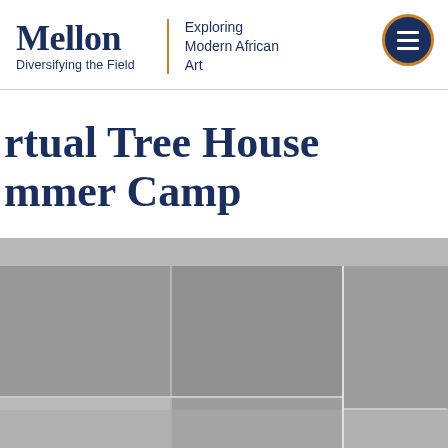Mellon Diversifying the Field | Exploring Modern African Art
Virtual Tree House Summer Camp
[Figure (photo): Collage of video call screenshots showing participants of the Virtual Tree House Summer Camp, multiple grid panels showing people on screen]